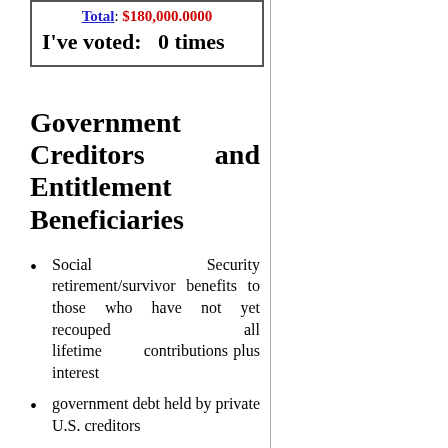Total: $180,000.0000
I've voted: 0 times
Government Creditors and Entitlement Beneficiaries
Social Security retirement/survivor benefits to those who have not yet recouped all lifetime contributions plus interest
government debt held by private U.S. creditors
government debt held by [continues]